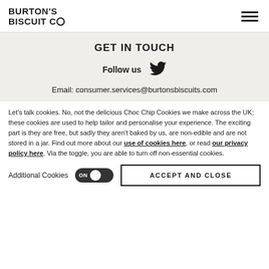[Figure (logo): Burton's Biscuit Co logo in bold uppercase black text]
[Figure (other): Hamburger/menu icon — three horizontal black lines]
GET IN TOUCH
Follow us
[Figure (other): Twitter bird icon]
Email: consumer.services@burtonsbiscuits.com
Let's talk cookies. No, not the delicious Choc Chip Cookies we make across the UK; these cookies are used to help tailor and personalise your experience. The exciting part is they are free, but sadly they aren't baked by us, are non-edible and are not stored in a jar. Find out more about our use of cookies here, or read our privacy policy here. Via the toggle, you are able to turn off non-essential cookies.
Additional Cookies
ACCEPT AND CLOSE